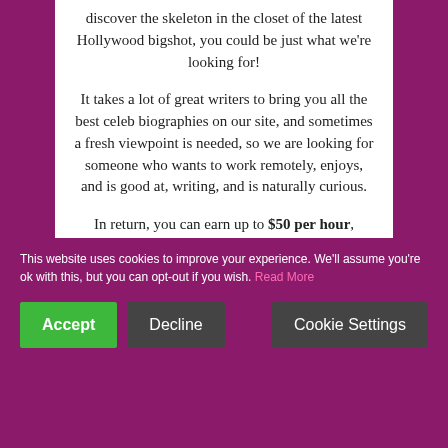discover the skeleton in the closet of the latest Hollywood bigshot, you could be just what we're looking for!
It takes a lot of great writers to bring you all the best celeb biographies on our site, and sometimes a fresh viewpoint is needed, so we are looking for someone who wants to work remotely, enjoys, and is good at, writing, and is naturally curious.
In return, you can earn up to $50 per hour, collaborate with a great team, and make a name writing for one of the most popular celeb sites around.
This website uses cookies to improve your experience. We'll assume you're ok with this, but you can opt-out if you wish. Read More